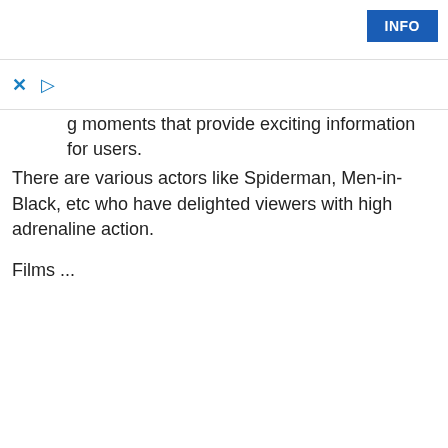INFO
g moments that provide exciting information for users. There are various actors like Spiderman, Men-in-Black, etc who have delighted viewers with high adrenaline action.

Films ...